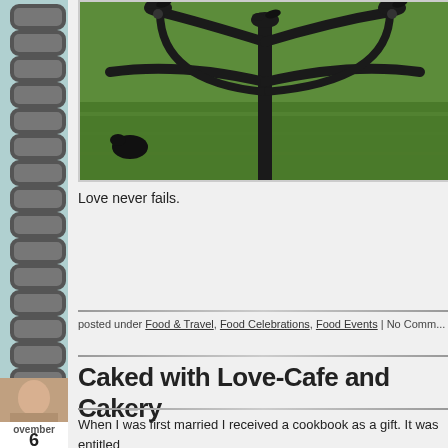[Figure (photo): Black wrought-iron ornamental gate or fence with bird sculptures, photographed against green grass background]
Love never fails.
posted under Food & Travel, Food Celebrations, Food Events | No Comm...
Caked with Love-Cafe and Cakery
When I was first married I received a cookbook as a gift. It was entitled "Mix Butter with Love". I am wondering if the owners of Caked with ...